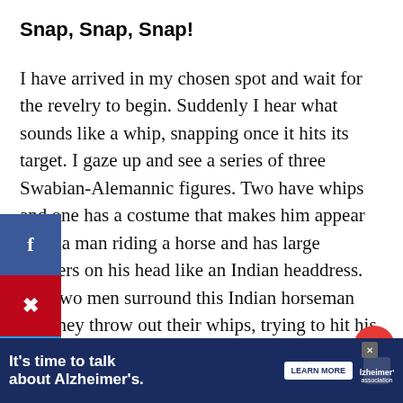Snap, Snap, Snap!
I have arrived in my chosen spot and wait for the revelry to begin. Suddenly I hear what sounds like a whip, snapping once it hits its target. I gaze up and see a series of three Swabian-Alemannic figures. Two have whips and one has a costume that makes him appear to be a man riding a horse and has large feathers on his head like an Indian headdress. The two men surround this Indian horseman and they throw out their whips, trying to hit his headdress of feathers. They don't do it lightly, but with full force. One can immediately see that you do not want to be anywhere near the end of
[Figure (infographic): Social media sharing sidebar with Facebook, Pinterest, Twitter, and Flipboard buttons]
[Figure (infographic): Heart/like button (red circle, count 9) and share button (circle with share icon)]
[Figure (infographic): What's Next panel showing 'Carnival – Enchanting...' with thumbnail]
[Figure (infographic): Advertisement banner: It's time to talk about Alzheimer's. LEARN MORE. Alzheimer's Association logo.]